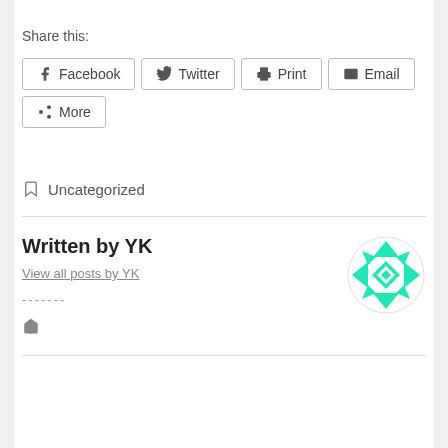Share this:
Facebook  Twitter  Print  Email  More
Uncategorized
Written by YK
View all posts by YK
-------
[Figure (logo): Green geometric diamond/snowflake pattern avatar for author YK]